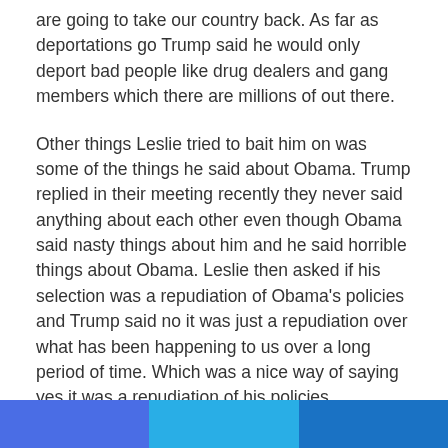are going to take our country back. As far as deportations go Trump said he would only deport bad people like drug dealers and gang members which there are millions of out there.
Other things Leslie tried to bait him on was some of the things he said about Obama. Trump replied in their meeting recently they never said anything about each other even though Obama said nasty things about him and he said horrible things about Obama. Leslie then asked if his selection was a repudiation of Obama's policies and Trump said no it was just a repudiation over what has been happening to us over a long period of time. Which was a nice way of saying yes it was a repudiation of his policies.
[Figure (other): Three horizontal colored bars at the bottom of the page: blue-purple, light blue, and dark blue]